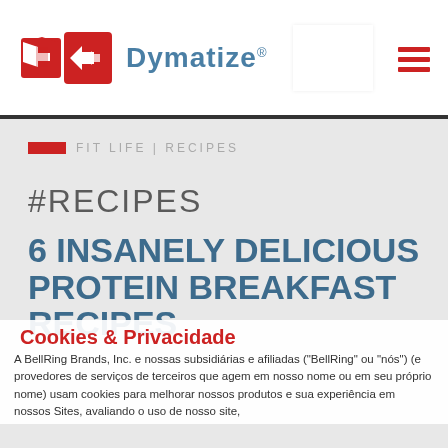[Figure (logo): Dymatize logo with red arrow/chevron icon and blue Dymatize text with registered trademark symbol]
FIT LIFE | RECIPES
#RECIPES
6 INSANELY DELICIOUS PROTEIN BREAKFAST RECIPES
Cookies & Privacidade
A BellRing Brands, Inc. e nossas subsidiárias e afiliadas ("BellRing" ou "nós") (e provedores de serviços de terceiros que agem em nosso nome ou em seu próprio nome) usam cookies para melhorar nossos produtos e sua experiência em nossos Sites, avaliando o uso de nosso site,